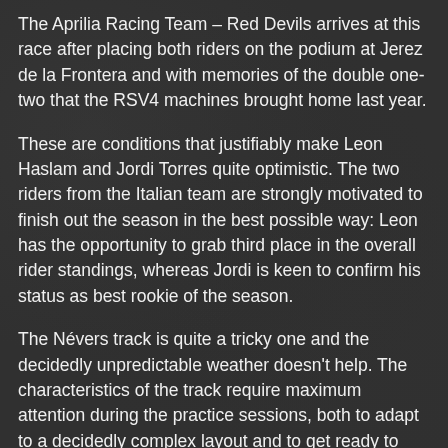The Aprilia Racing Team – Red Devils arrives at this race after placing both riders on the podium at Jerez de la Frontera and with memories of the double one-two that the RSV4 machines brought home last year.
These are conditions that justifiably make Leon Haslam and Jordi Torres quite optimistic. The two riders from the Italian team are strongly motivated to finish out the season in the best possible way: Leon has the opportunity to grab third place in the overall rider standings, whereas Jordi is keen to confirm his status as best rookie of the season.
The Névers track is quite a tricky one and the decidedly unpredictable weather doesn't help. The characteristics of the track require maximum attention during the practice sessions, both to adapt to a decidedly complex layout and to get ready to handle any weather conditions that may arise.